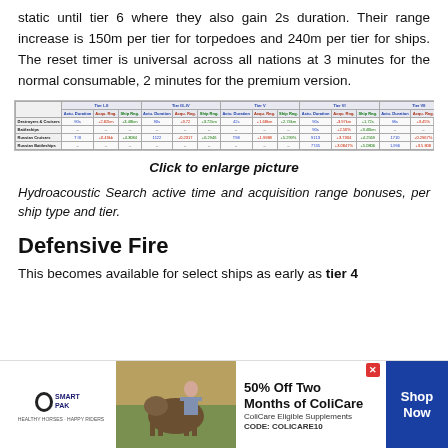static until tier 6 where they also gain 2s duration. Their range increase is 150m per tier for torpedoes and 240m per tier for ships. The reset timer is universal across all nations at 3 minutes for the normal consumable, 2 minutes for the premium version.
[Figure (table-as-image): Hydroacoustic Search stats table showing active time duration, acquisition range bonuses per ship type and tier]
Click to enlarge picture
Hydroacoustic Search active time and acquisition range bonuses, per ship type and tier.
Defensive Fire
This becomes available for select ships as early as tier 4